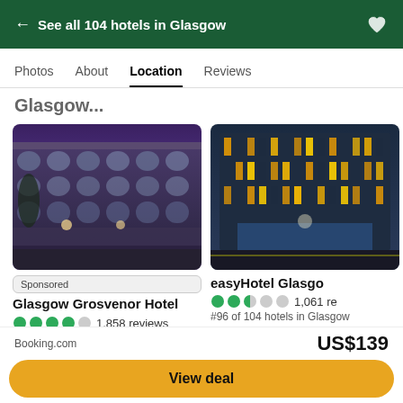← See all 104 hotels in Glasgow
Photos
About
Location
Reviews
Glasgow
[Figure (photo): Exterior view of Glasgow Grosvenor Hotel — grand Victorian sandstone building with arched windows at dusk]
Sponsored
Glasgow Grosvenor Hotel
1,858 reviews
[Figure (photo): Exterior view of easyHotel Glasgow — modern dark glass building with orange and yellow lit windows at night]
easyHotel Glasgow
1,061 reviews
#96 of 104 hotels in Glasgow
Booking.com
US$139
View deal